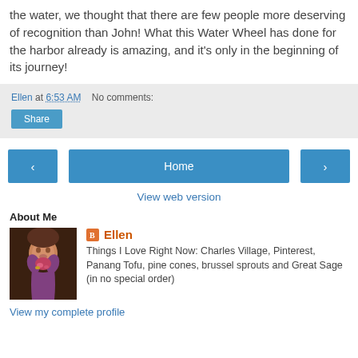the water, we thought that there are few people more deserving of recognition than John! What this Water Wheel has done for the harbor already is amazing, and it’s only in the beginning of its journey!
Ellen at 6:53 AM    No comments:
Share
‹
Home
›
View web version
About Me
Ellen
Things I Love Right Now: Charles Village, Pinterest, Panang Tofu, pine cones, brussel sprouts and Great Sage (in no special order)
View my complete profile